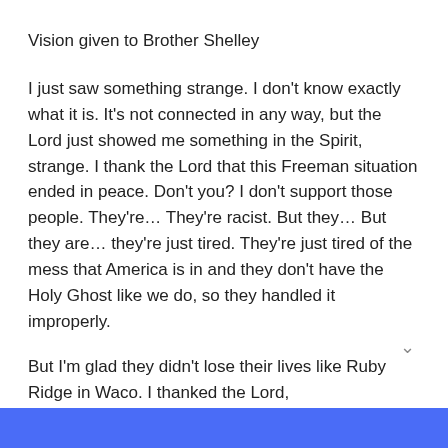Vision given to Brother Shelley
I just saw something strange. I don't know exactly what it is. It's not connected in any way, but the Lord just showed me something in the Spirit, strange. I thank the Lord that this Freeman situation ended in peace. Don't you? I don't support those people. They're... They're racist. But they... But they are... they're just tired. They're just tired of the mess that America is in and they don't have the Holy Ghost like we do, so they handled it improperly.
But I'm glad they didn't lose their lives like Ruby Ridge in Waco. I thanked the Lord,